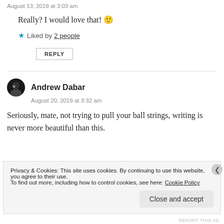August 13, 2019 at 3:03 am
Really? I would love that! 🙂
★ Liked by 2 people
REPLY
Andrew Dabar
August 20, 2019 at 3:32 am
Seriously, mate, not trying to pull your ball strings, writing is never more beautiful than this.
Privacy & Cookies: This site uses cookies. By continuing to use this website, you agree to their use. To find out more, including how to control cookies, see here: Cookie Policy
Close and accept